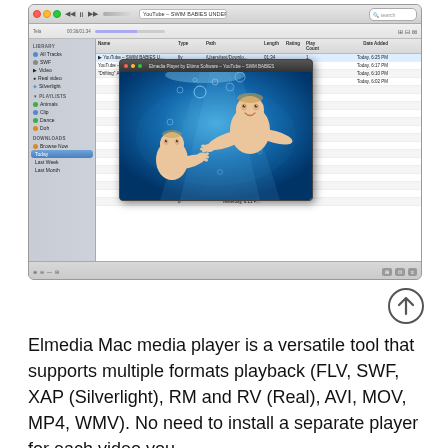[Figure (screenshot): Screenshot of Elmedia Player (iTunes-like interface on macOS) showing a library with video tracks. A popup Elmedia Player window shows two babies swimming underwater in vivid blue water. The main window shows tracks including 'YouTube – SWIM BABIES U...', 'YouTube – FUNNY CATS S...', and 'Drifting Andy Mckee Gu...' with columns for Type, Path, Length, Rating, Play Count, and Date Added. Sidebar shows Library section with All Tracks, SWF, Video, Real video, Silverlight and Playlists with Animals, Clip, Dance, Doh, and Downloads section with Browse Now, Today, Last Week, Last Month.]
[Figure (illustration): Circle with up-arrow icon (navigation/back-to-top button)]
Elmedia Mac media player is a versatile tool that supports multiple formats playback (FLV, SWF, XAP (Silverlight), RM and RV (Real), AVI, MOV, MP4, WMV). No need to install a separate player for each video you